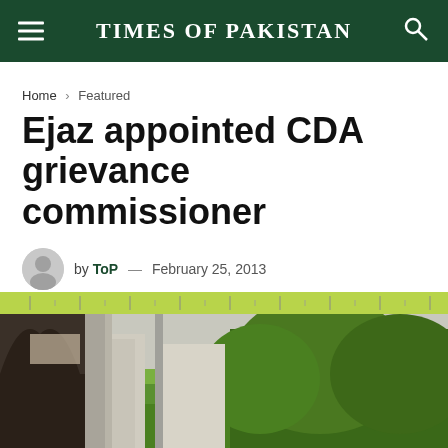TIMES OF PAKISTAN
Home > Featured
Ejaz appointed CDA grievance commissioner
by ToP — February 25, 2013
[Figure (logo): Government of Pakistan Capital Development Authority Islamabad logo]
[Figure (photo): Photograph of Islamabad cityscape showing CDA area with buildings, arch, trees and a ruler/scale bar]